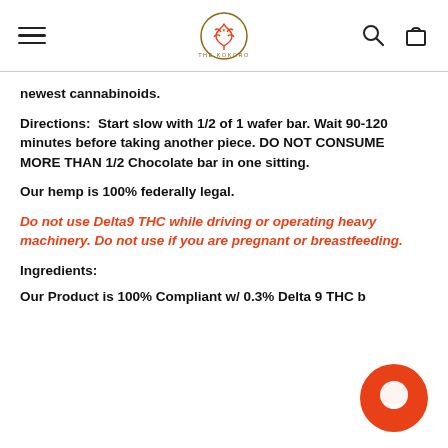THE KOKORO — navigation header with logo
newest cannabinoids.
Directions:  Start slow with 1/2 of 1 wafer bar. Wait 90-120 minutes before taking another piece. DO NOT CONSUME MORE THAN 1/2 Chocolate bar in one sitting.
Our hemp is 100% federally legal.
Do not use Delta9 THC while driving or operating heavy machinery. Do not use if you are pregnant or breastfeeding.
Ingredients:
Our Products is 100% Compliant w/ 0.3% Delta 9 THC b...